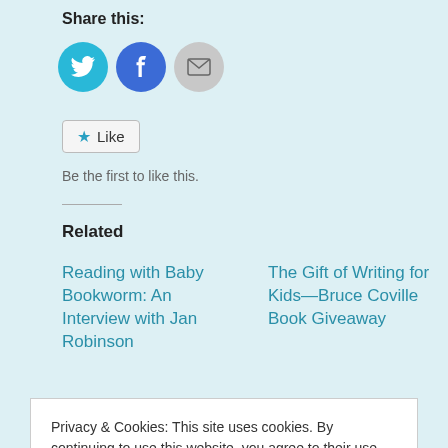Share this:
[Figure (other): Social share buttons: Twitter (blue circle with bird icon), Facebook (blue circle with f icon), Email (gray circle with envelope icon)]
[Figure (other): Like button widget with star icon and text 'Like']
Be the first to like this.
Related
Reading with Baby Bookworm: An Interview with Jan Robinson
The Gift of Writing for Kids—Bruce Coville Book Giveaway
Privacy & Cookies: This site uses cookies. By continuing to use this website, you agree to their use.
To find out more, including how to control cookies, see here: Cookie Policy
Close and accept